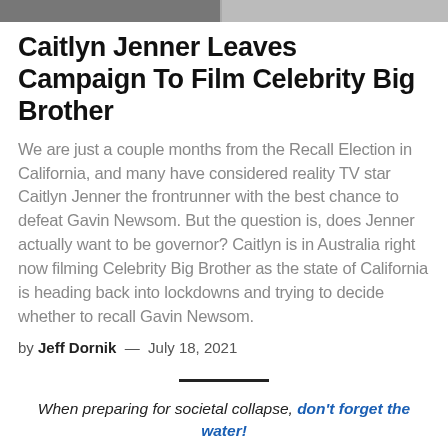[Figure (photo): Partial cropped photo strip at top of page, showing celebrity or news images]
Caitlyn Jenner Leaves Campaign To Film Celebrity Big Brother
We are just a couple months from the Recall Election in California, and many have considered reality TV star Caitlyn Jenner the frontrunner with the best chance to defeat Gavin Newsom. But the question is, does Jenner actually want to be governor? Caitlyn is in Australia right now filming Celebrity Big Brother as the state of California is heading back into lockdowns and trying to decide whether to recall Gavin Newsom.
by Jeff Dornik — July 18, 2021
When preparing for societal collapse, don't forget the water!